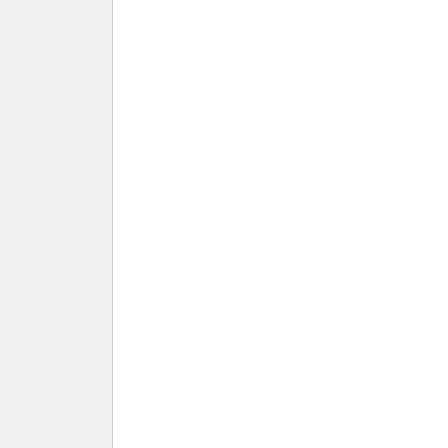Dorothy Cummings for the History of Psychology
Title: Calista V. Leonard papers
Dates: 1930-1989
Subjects: Leonard, Ca... V. | Neuropsychiatric Institute (U... | Suicide | Psychotherapy | Psychiatry | Diagnosis and treatment of mental disorders | Psychology | Medical psychiatry | Counseling psychology | Clinical psychology | Mental health...